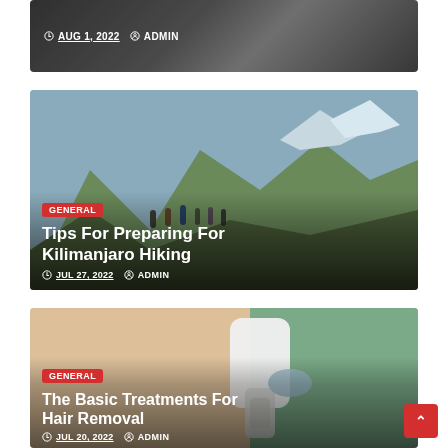[Figure (photo): Partial top card showing a dark background with backpack/gear, with date and author metadata bar]
AUG 1, 2022  ADMIN
[Figure (photo): Group of hikers with backpacks on a rocky mountain trail, Kilimanjaro landscape with cliffs and sparse vegetation]
GENERAL
Tips For Preparing For Kilimanjaro Hiking
JUL 27, 2022  ADMIN
[Figure (photo): Medical professional performing laser hair removal treatment on a person's leg]
GENERAL
The Basic Treatments For Hair Removal
JUL 20, 2022  ADMIN